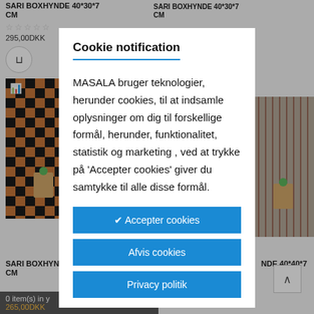[Figure (screenshot): E-commerce product listing page showing two SARI BOXHYNDE products with checkered and striped patterns, prices in DKK, star ratings, and cart buttons]
Cookie notification
MASALA bruger teknologier, herunder cookies, til at indsamle oplysninger om dig til forskellige formål, herunder, funktionalitet, statistik og marketing , ved at trykke på 'Accepter cookies' giver du samtykke til alle disse formål.
✔ Accepter cookies
Afvis cookies
Privacy politik